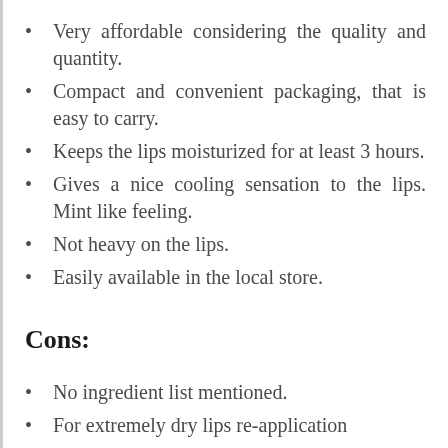Very affordable considering the quality and quantity.
Compact and convenient packaging, that is easy to carry.
Keeps the lips moisturized for at least 3 hours.
Gives a nice cooling sensation to the lips. Mint like feeling.
Not heavy on the lips.
Easily available in the local store.
Cons:
No ingredient list mentioned.
For extremely dry lips re-application